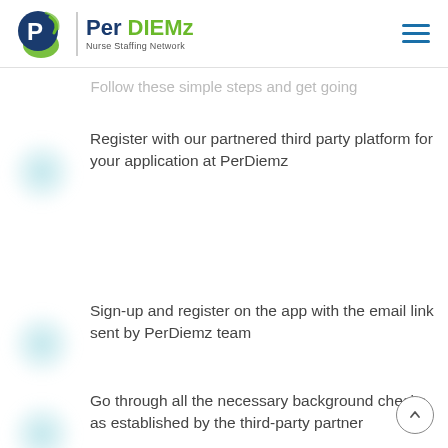Per DIEMz - Nurse Staffing Network
Follow these simple steps and get going
Register with our partnered third party platform for your application at PerDiemz
Sign-up and register on the app with the email link sent by PerDiemz team
Go through all the necessary background checks as established by the third-party partner